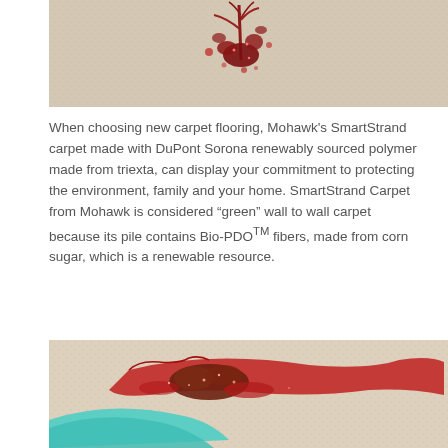[Figure (photo): Close-up photo of a red liquid or sauce splattered on a light beige/cream carpet surface, viewed from above, showing the spread pattern of the spill.]
When choosing new carpet flooring, Mohawk's SmartStrand carpet made with DuPont Sorona renewably sourced polymer made from triexta, can display your commitment to protecting the environment, family and your home. SmartStrand Carpet from Mohawk is considered "green" wall to wall carpet because its pile contains Bio-PDO™ fibers, made from corn sugar, which is a renewable resource.
[Figure (photo): Close-up photo of a red liquid spill on a light-colored carpet with teal/cyan colored element visible at bottom left, showing the texture and spread of the liquid.]